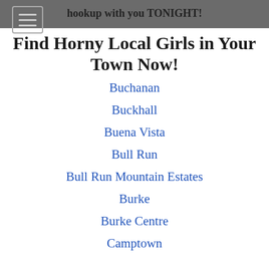hookup with you TONIGHT!
Find Horny Local Girls in Your Town Now!
Buchanan
Buckhall
Buena Vista
Bull Run
Bull Run Mountain Estates
Burke
Burke Centre
Camptown